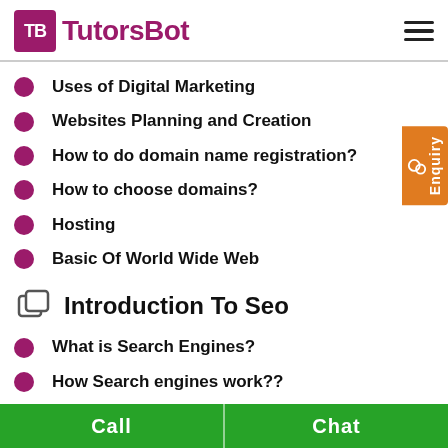TutorsBot
Uses of Digital Marketing
Websites Planning and Creation
How to do domain name registration?
How to choose domains?
Hosting
Basic Of World Wide Web
Introduction To Seo
What is Search Engines?
How Search engines work??
Call  Chat